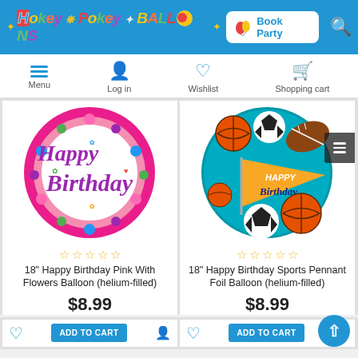[Figure (screenshot): Hokey Pokey Balloons website header with logo, Book Party button, and search icon on blue background]
[Figure (screenshot): Navigation bar with Menu, Log in, Wishlist, Shopping cart icons]
[Figure (photo): 18 inch Happy Birthday Pink With Flowers Balloon - round pink foil balloon with floral decoration]
18" Happy Birthday Pink With Flowers Balloon (helium-filled)
$8.99
[Figure (photo): 18 inch Happy Birthday Sports Pennant Foil Balloon - round blue balloon with sports balls and pennant design]
18" Happy Birthday Sports Pennant Foil Balloon (helium-filled)
$8.99